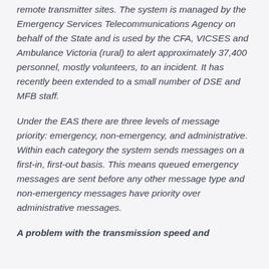remote transmitter sites. The system is managed by the Emergency Services Telecommunications Agency on behalf of the State and is used by the CFA, VICSES and Ambulance Victoria (rural) to alert approximately 37,400 personnel, mostly volunteers, to an incident. It has recently been extended to a small number of DSE and MFB staff.
Under the EAS there are three levels of message priority: emergency, non-emergency, and administrative. Within each category the system sends messages on a first-in, first-out basis. This means queued emergency messages are sent before any other message type and non-emergency messages have priority over administrative messages.
A problem with the transmission speed and